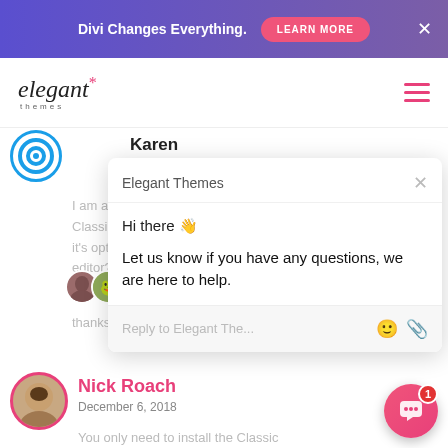[Figure (screenshot): Website banner ad for Divi with gradient purple background, 'Divi Changes Everything.' text, pink 'LEARN MORE' button, and X close button]
[Figure (logo): Elegant Themes logo - italic serif 'elegant' with asterisk star and 'themes' subtitle in small caps]
Karen
December 6, 2018
I am a bit c...
Classic Ec...
it's option...
editor?
thanks
[Figure (screenshot): Live chat widget popup from Elegant Themes showing greeting message 'Hi there 👋' and 'Let us know if you have any questions, we are here to help.' with reply input box]
Nick Roach
December 6, 2018
You only need to install the Classic